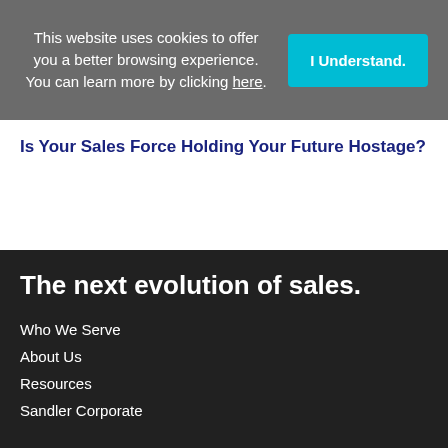This website uses cookies to offer you a better browsing experience. You can learn more by clicking here.
I Understand.
Is Your Sales Force Holding Your Future Hostage?
The next evolution of sales.
Who We Serve
About Us
Resources
Sandler Corporate